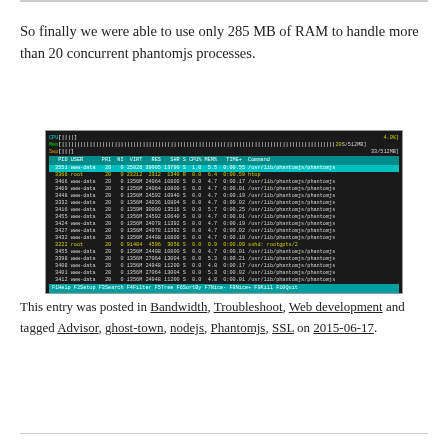So finally we were able to use only 285 MB of RAM to handle more than 20 concurrent phantomjs processes.
[Figure (screenshot): Terminal screenshot showing htop-like process monitor with CPU/Mem/Swp bars and a list of www-data processes running /usr/lib/phantomjs/phantomjs]
This entry was posted in Bandwidth, Troubleshoot, Web development and tagged Advisor, ghost-town, nodejs, Phantomjs, SSL on 2015-06-17.